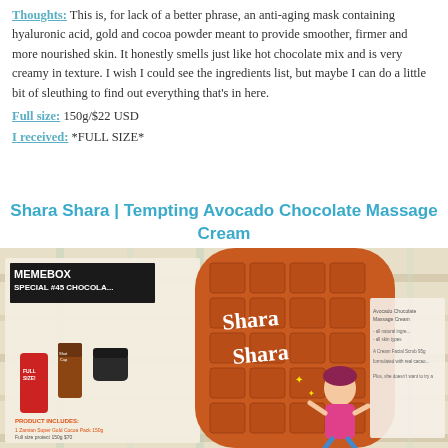Thoughts: This is, for lack of a better phrase, an anti-aging mask containing hyaluronic acid, gold and cocoa powder meant to provide smoother, firmer and more nourished skin. It honestly smells just like hot chocolate mix and is very creamy in texture. I wish I could see the ingredients list, but maybe I can do a little bit of sleuthing to find out everything that's in here.
Full size: 150g/$22 USD
I received: *FULL SIZE*
Shara Shara | Tempting Avocado Chocolate Massage Cream
[Figure (photo): Photo showing a Shara Shara product tube with chocolate pattern packaging and illustrated girl, alongside a Memebox Special #45 Chocolate box and product literature on a plaid surface]